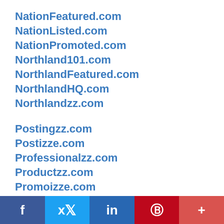NationFeatured.com
NationListed.com
NationPromoted.com
Northland101.com
NorthlandFeatured.com
NorthlandHQ.com
Northlandzz.com
Postingzz.com
Postizze.com
Professionalzz.com
Productzz.com
Promoizze.com
Repairzz.com
Restaurantzz.com
f  Twitter  in  Pinterest  +